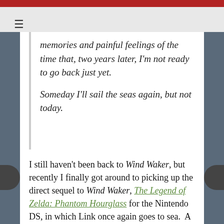memories and painful feelings of the time that, two years later, I'm not ready to go back just yet.

Someday I'll sail the seas again, but not today.
I still haven't been back to Wind Waker, but recently I finally got around to picking up the direct sequel to Wind Waker, The Legend of Zelda: Phantom Hourglass for the Nintendo DS, in which Link once again goes to sea. A day or two after starting the quest and sailing around Hyrule, my health crisis from last year flared up again after several weeks of smooth sailing. Resting at home today, I'm propped